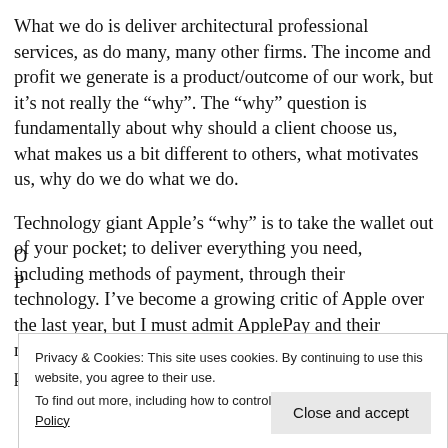What we do is deliver architectural professional services, as do many, many other firms. The income and profit we generate is a product/outcome of our work, but it’s not really the “why”. The “why” question is fundamentally about why should a client choose us, what makes us a bit different to others, what motivates us, why do we do what we do.
Technology giant Apple’s “why” is to take the wallet out of your pocket; to deliver everything you need, including methods of payment, through their technology. I’ve become a growing critic of Apple over the last year, but I must admit ApplePay and their mobile development from a software capability perspective is mightily impressive!
Privacy & Cookies: This site uses cookies. By continuing to use this website, you agree to their use. To find out more, including how to control cookies, see here: Cookie Policy